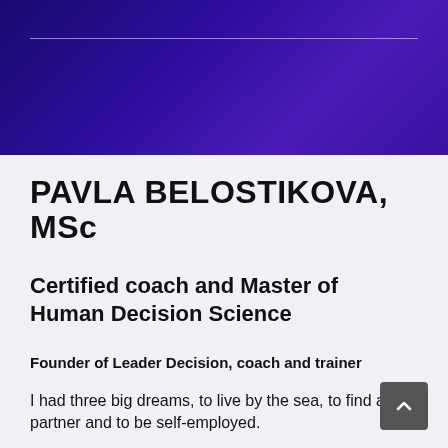[Figure (illustration): Dark navy/purple gradient header background with a thin horizontal white/silver line near the top]
PAVLA BELOSTIKOVA, MSc
[Figure (illustration): Horizontal gradient bar from purple to cyan/teal]
Certified coach and Master of Human Decision Science
Founder of Leader Decision, coach and trainer
I had three big dreams, to live by the sea, to find a life partner and to be self-employed.